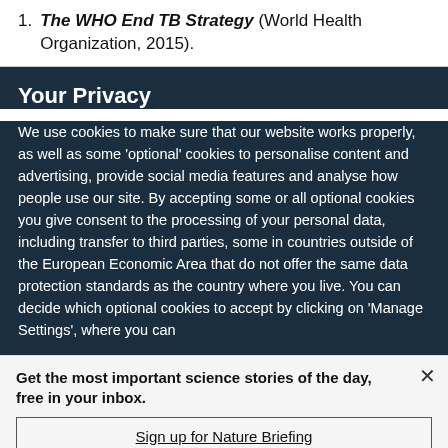1. The WHO End TB Strategy (World Health Organization, 2015).
Your Privacy
We use cookies to make sure that our website works properly, as well as some 'optional' cookies to personalise content and advertising, provide social media features and analyse how people use our site. By accepting some or all optional cookies you give consent to the processing of your personal data, including transfer to third parties, some in countries outside of the European Economic Area that do not offer the same data protection standards as the country where you live. You can decide which optional cookies to accept by clicking on 'Manage Settings', where you can
Get the most important science stories of the day, free in your inbox.
Sign up for Nature Briefing